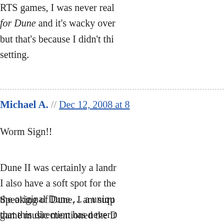RTS games, I was never real... for Dune and it's wacky over... but that's because I didn't thi... setting.
Michael A. // Dec 12, 2008 at 8...
Worm Sign!!
Dune II was certainly a landr... I also have a soft spot for the... the original Dune … a uniqu... that this direction has never r...
Speaking of Dune, I am surp... game music mentioned the D... the more memorable game tr...